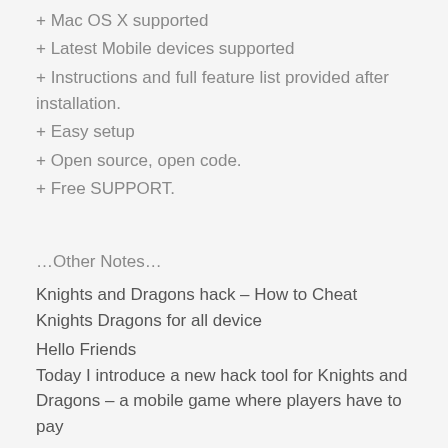+ Mac OS X supported
+ Latest Mobile devices supported
+ Instructions and full feature list provided after installation.
+ Easy setup
+ Open source, open code.
+ Free SUPPORT.
…Other Notes…
Knights and Dragons hack – How to Cheat Knights Dragons for all device
Hello Friends
Today I introduce a new hack tool for Knights and Dragons – a mobile game where players have to pay